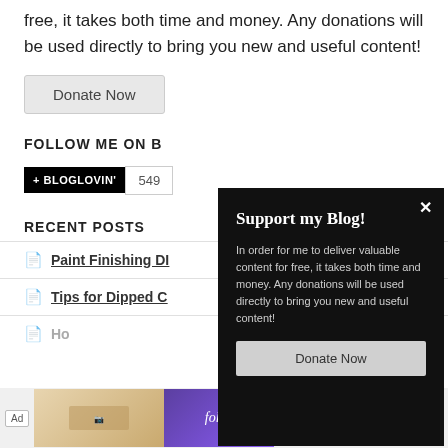free, it takes both time and money. Any donations will be used directly to bring you new and useful content!
Donate Now
FOLLOW ME ON BLOGLOVIN
+ BLOGLOVIN'  549
RECENT POSTS
Paint Finishing DI...
Tips for Dipped C...
Ho...
[Figure (screenshot): Advertisement bar at bottom with 'Ad' label, decorative images and 'follić' text]
Support my Blog!
In order for me to deliver valuable content for free, it takes both time and money. Any donations will be used directly to bring you new and useful content!
Donate Now